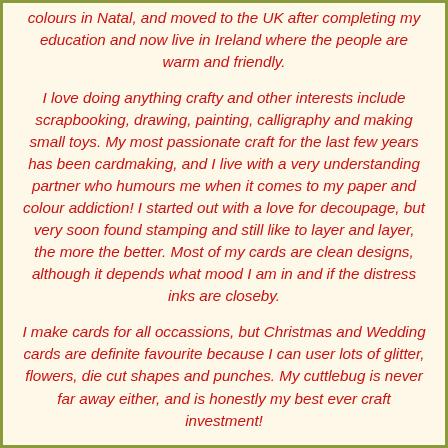colours in Natal, and moved to the UK after completing my education and now live in Ireland where the people are warm and friendly.
I love doing anything crafty and other interests include scrapbooking, drawing, painting, calligraphy and making small toys. My most passionate craft for the last few years has been cardmaking, and I live with a very understanding partner who humours me when it comes to my paper and colour addiction! I started out with a love for decoupage, but very soon found stamping and still like to layer and layer, the more the better. Most of my cards are clean designs, although it depends what mood I am in and if the distress inks are closeby.
I make cards for all occassions, but Christmas and Wedding cards are definite favourite because I can user lots of glitter, flowers, die cut shapes and punches. My cuttlebug is never far away either, and is honestly my best ever craft investment!
When I am not crafting I work full time and love walking and